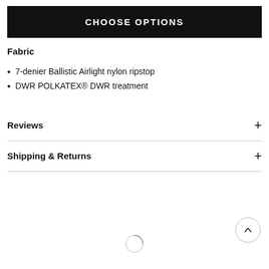CHOOSE OPTIONS
Fabric
7-denier Ballistic Airlight nylon ripstop
DWR POLKATEX® DWR treatment
Reviews
Shipping & Returns